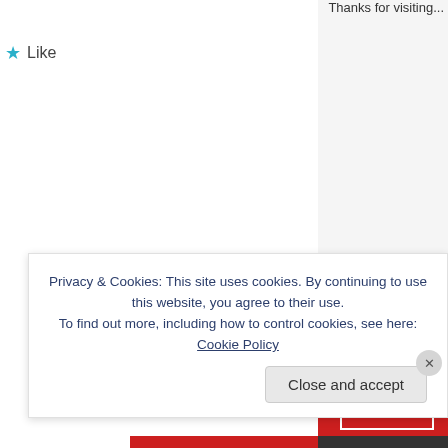Thanks for visiting...
★ Like
Reply
Advertisement
[Figure (other): Red advertisement banner with white border box and letter 't' in white]
Privacy & Cookies: This site uses cookies. By continuing to use this website, you agree to their use.
To find out more, including how to control cookies, see here: Cookie Policy
Close and accept